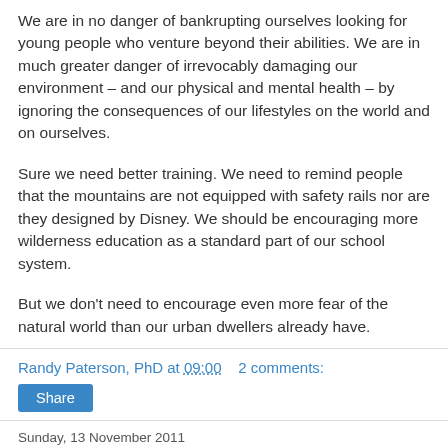We are in no danger of bankrupting ourselves looking for young people who venture beyond their abilities. We are in much greater danger of irrevocably damaging our environment – and our physical and mental health – by ignoring the consequences of our lifestyles on the world and on ourselves.
Sure we need better training. We need to remind people that the mountains are not equipped with safety rails nor are they designed by Disney. We should be encouraging more wilderness education as a standard part of our school system.
But we don't need to encourage even more fear of the natural world than our urban dwellers already have.
Randy Paterson, PhD at 09:00    2 comments:
Share